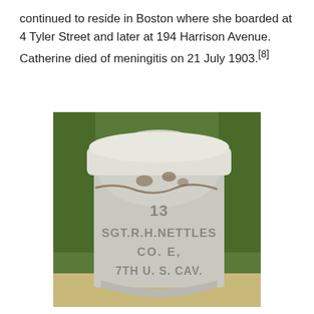continued to reside in Boston where she boarded at 4 Tyler Street and later at 194 Harrison Avenue. Catherine died of meningitis on 21 July 1903.[8]
[Figure (photo): A weathered military gravestone marker for SGT. R. H. NETTLES, CO. E, 7TH U.S. CAV., with the number 13 at the top. The stone is gray/white and set against green grass background.]